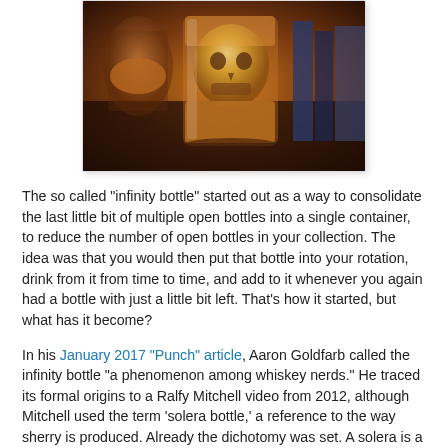[Figure (photo): A close-up photo of a whiskey glass with a large skull-shaped ice cube or crystal, amber liquid visible, dark wooden surface, books blurred in background]
The so called "infinity bottle" started out as a way to consolidate the last little bit of multiple open bottles into a single container, to reduce the number of open bottles in your collection. The idea was that you would then put that bottle into your rotation, drink from it from time to time, and add to it whenever you again had a bottle with just a little bit left. That's how it started, but what has it become?
In his January 2017 "Punch" article, Aaron Goldfarb called the infinity bottle "a phenomenon among whiskey nerds." He traced its formal origins to a Ralfy Mitchell video from 2012, although Mitchell used the term 'solera bottle,' a reference to the way sherry is produced. Already the dichotomy was set. A solera is a very deliberate system, a form of fractional blending that results in a product made up of liquids that